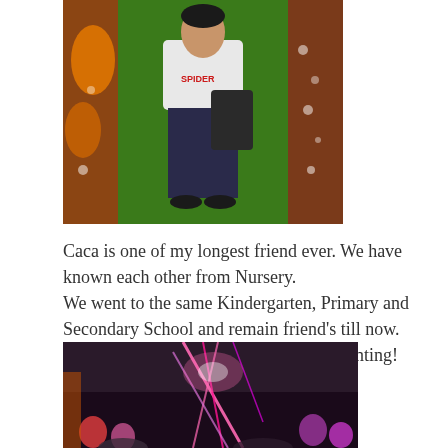[Figure (photo): A person wearing a white t-shirt and dark pants holding a dark bag, standing in front of a decorated doorway with orange and green decorations.]
Caca is one of my longest friend ever. We have known each other from Nursery.
We went to the same Kindergarten, Primary and Secondary School and remain friend's till now.
It has been about 21 years now? and counting!
[Figure (photo): A dark indoor scene with pink glowing light streaks and balloons visible in the background.]